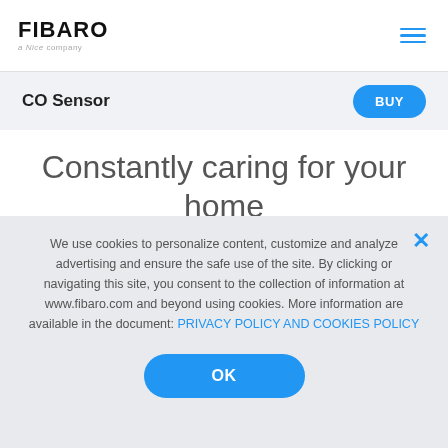FIBARO — a Nice company
CO Sensor
Constantly caring for your home
The dangerous carbon monoxide can also appear in your house when you are away. Thanks to the FIBARO system you will know about the danger, wherever you are. With
We use cookies to personalize content, customize and analyze advertising and ensure the safe use of the site. By clicking or navigating this site, you consent to the collection of information at www.fibaro.com and beyond using cookies. More information are available in the document: PRIVACY POLICY AND COOKIES POLICY
OK